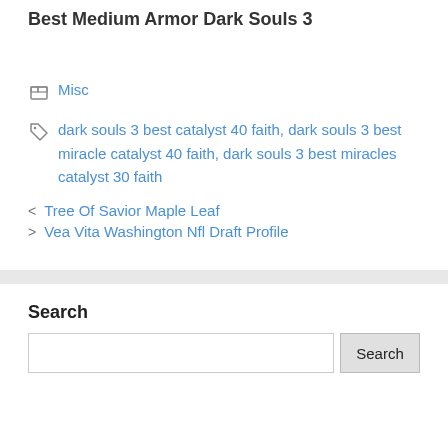Best Medium Armor Dark Souls 3
Misc
dark souls 3 best catalyst 40 faith, dark souls 3 best miracle catalyst 40 faith, dark souls 3 best miracles catalyst 30 faith
Tree Of Savior Maple Leaf
Vea Vita Washington Nfl Draft Profile
Search